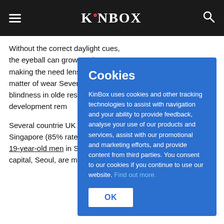KinBox
Without the correct daylight cues, the eyeball can grow too long, making the need lenses or s a matter of wear Severe myopia – blindness in olde restore vision, th development rem
Several countrie UK in driving the Singapore (85% rates are highes 19-year-old men in South Korea's capital, Seoul, are myopic.
Cookies

KinBox uses cookies and other tracking technologies to assist with navigation and your ability to provide feedback, analyse your use of our products and services, assist with our promotional and marketing efforts, and provide content from third parties. You consent to our cookies if you continue to use our website. Find out more.

OK